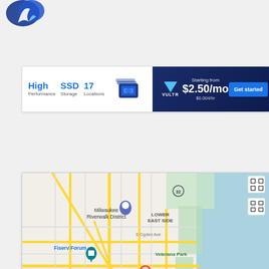[Figure (logo): Blue flame/snake logo mark in top left corner]
[Figure (infographic): Vultr advertisement banner: High Performance, SSD Storage, 17 Locations. Starting from $2.50/mo ($0.004/hr). Get started button.]
[Figure (map): Google Maps screenshot showing Milwaukee, WI area. Shows Milwaukee Riverwalk District, Lower East Side, Fiserv Forum, Westown, Veterans Park, Potawatomi Hotel & Casino, Walker's Point. Red location pin in center labeled Milwaukee. Zoom controls visible. Map data 2023.]